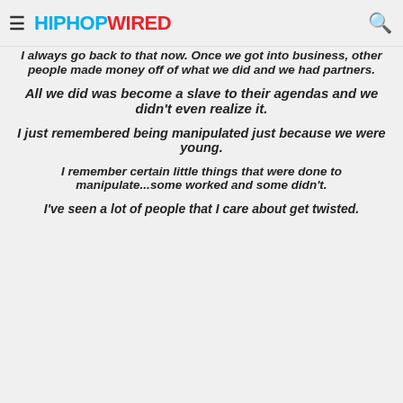HIPHOPWIRED
I always go back to that now. Once we got into business, other people made money off of what we did and we had partners.
All we did was become a slave to their agendas and we didn't even realize it.
I just remembered being manipulated just because we were young.
I remember certain little things that were done to manipulate...some worked and some didn't.
I've seen a lot of people that I care about get twisted.